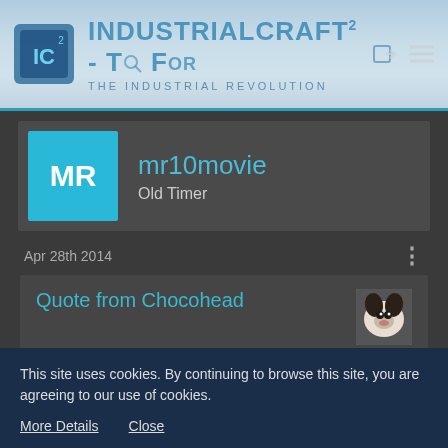[Figure (screenshot): IndustrialCraft² - The Forum website header banner with logo, site title, subtitle 'The Industrial Revolution', search icon, login icon, and menu icon]
[Figure (screenshot): User profile card showing avatar with initials MR on cyan background, username mr10movie in teal, role Old Timer]
Apr 28th 2014
Quote from Chocohead
Deep ^
2Deep4Me
This site uses cookies. By continuing to browse this site, you are agreeing to our use of cookies.
More Details   Close